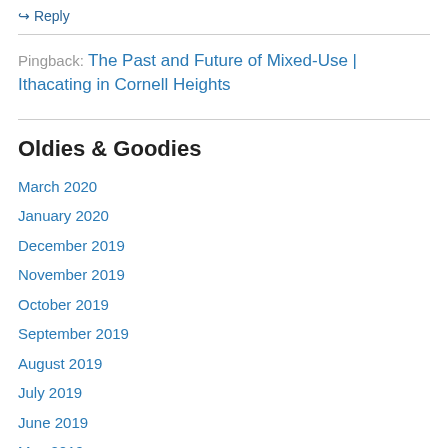↳ Reply
Pingback: The Past and Future of Mixed-Use | Ithacating in Cornell Heights
Oldies & Goodies
March 2020
January 2020
December 2019
November 2019
October 2019
September 2019
August 2019
July 2019
June 2019
May 2019